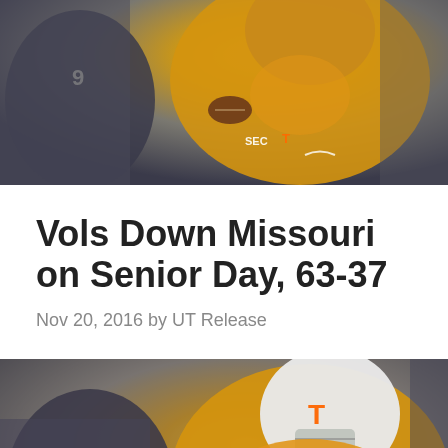[Figure (photo): Tennessee Volunteers football player in orange uniform carrying the ball during game against Missouri, defensive players in dark uniforms visible in background. Top portion of page.]
Vols Down Missouri on Senior Day, 63-37
Nov 20, 2016 by UT Release
[Figure (photo): Tennessee Volunteers football player in orange and white uniform with T logo on helmet carrying football, running during game against Missouri. Bottom portion of page, partially cropped.]